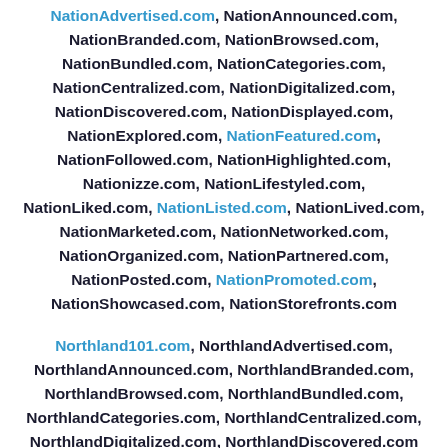NationAdvertised.com, NationAnnounced.com, NationBranded.com, NationBrowsed.com, NationBundled.com, NationCategories.com, NationCentralized.com, NationDigitalized.com, NationDiscovered.com, NationDisplayed.com, NationExplored.com, NationFeatured.com, NationFollowed.com, NationHighlighted.com, Nationizze.com, NationLifestyled.com, NationLiked.com, NationListed.com, NationLived.com, NationMarketed.com, NationNetworked.com, NationOrganized.com, NationPartnered.com, NationPosted.com, NationPromoted.com, NationShowcased.com, NationStorefronts.com
Northland101.com, NorthlandAdvertised.com, NorthlandAnnounced.com, NorthlandBranded.com, NorthlandBrowsed.com, NorthlandBundled.com, NorthlandCategories.com, NorthlandCentralized.com, NorthlandDigitalized.com, NorthlandDiscovered.com